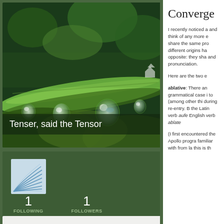[Figure (photo): Close-up photo of a green plant stem with water droplets hanging from it, dark green blurred bokeh background]
Tenser, said the Tensor
[Figure (logo): Square logo with blue/white curved lines pattern on light blue background]
1
FOLLOWING
1
FOLLOWERS
Converge
I recently noticed a and think of any more e share the same pro different origins ha opposite: they sha and pronunciation.
Here are the two e
ablative: There an grammatical case i to (among other thi during re-entry. B the Latin verb aufe English verb ablate
(I first encountered the Apollo progra familiar with from la this is th